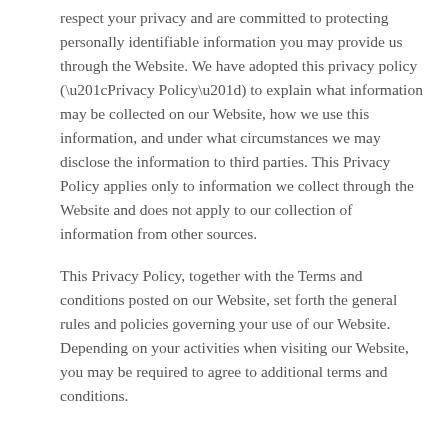respect your privacy and are committed to protecting personally identifiable information you may provide us through the Website. We have adopted this privacy policy (“Privacy Policy”) to explain what information may be collected on our Website, how we use this information, and under what circumstances we may disclose the information to third parties. This Privacy Policy applies only to information we collect through the Website and does not apply to our collection of information from other sources.
This Privacy Policy, together with the Terms and conditions posted on our Website, set forth the general rules and policies governing your use of our Website. Depending on your activities when visiting our Website, you may be required to agree to additional terms and conditions.